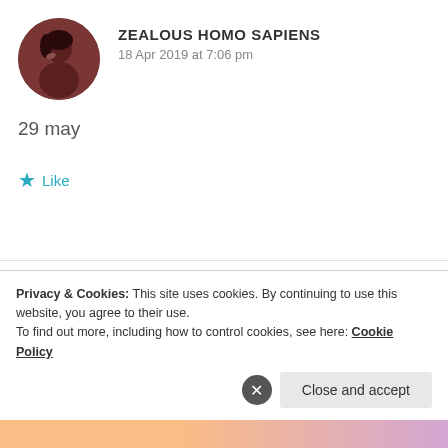[Figure (photo): Circular avatar photo of a person with dark hair against a dark reddish-brown background]
ZEALOUS HOMO SAPIENS
18 Apr 2019 at 7:06 pm
29 may
★ Like
[Figure (photo): Circular avatar photo of a woman in traditional colorful Indian attire with jewelry]
□□□□ □□□□
18 Apr 2019 at 9:02 pm
Privacy & Cookies: This site uses cookies. By continuing to use this website, you agree to their use.
To find out more, including how to control cookies, see here: Cookie Policy
Close and accept